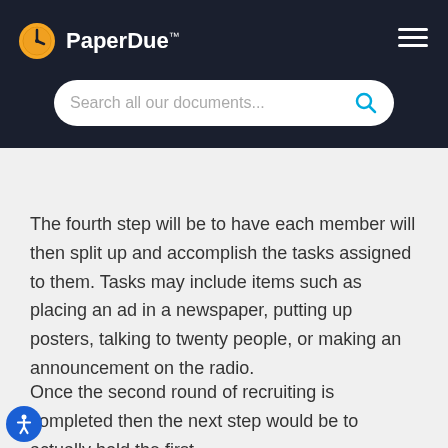PaperDue™
Search all our documents...
The fourth step will be to have each member will then split up and accomplish the tasks assigned to them. Tasks may include items such as placing an ad in a newspaper, putting up posters, talking to twenty people, or making an announcement on the radio.
Once the second round of recruiting is completed then the next step would be to actually hold the first